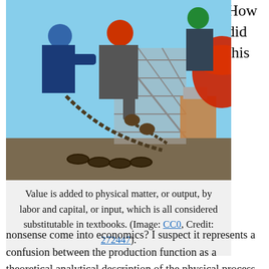How did this
[Figure (photo): Workers in hard hats and safety gear handling heavy chains at an industrial worksite, with equipment and a bridge structure visible in the background.]
Value is added to physical matter, or output, by labor and capital, or input, which is all considered substitutable in textbooks. (Image: CC0, Credit: 272447).
nonsense come into economics? I suspect it represents a confusion between the production function as a theoretical analytical description of the physical process of transformation (a recipe) and production function as a mere statistical correlation between